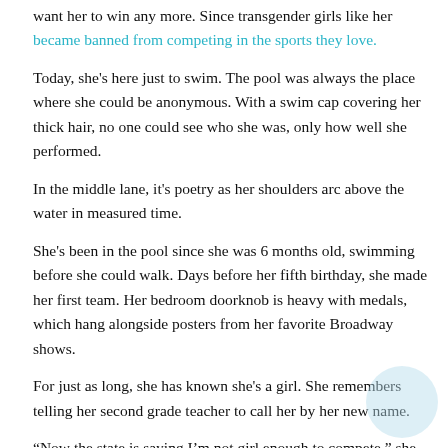want her to win any more. Since transgender girls like her became banned from competing in the sports they love.
Today, she's here just to swim. The pool was always the place where she could be anonymous. With a swim cap covering her thick hair, no one could see who she was, only how well she performed.
In the middle lane, it's poetry as her shoulders arc above the water in measured time.
She's been in the pool since she was 6 months old, swimming before she could walk. Days before her fifth birthday, she made her first team. Her bedroom doorknob is heavy with medals, which hang alongside posters from her favorite Broadway shows.
For just as long, she has known she's a girl. She remembers telling her second grade teacher to call her by her new name.
“Now the state is saying I’m not girl enough to compete,” she says. “And that really hurts. Because I am. I am girl enough.”
She skims across the water in a breaststroke and looks like she's flying more than swimming. The red and gray lane markers sway with her powerful movements. A few people at the gym stop to watch her.
She never wanted to quit. She felt like she had to.
— — —